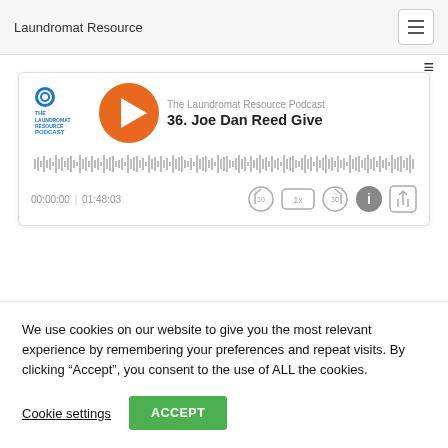Laundromat Resource
[Figure (screenshot): Podcast audio player widget showing The Laundromat Resource Podcast, episode 36. Joe Dan Reed Give, with play button, waveform, time 00:00:00 | 01:48:03, and playback controls]
We use cookies on our website to give you the most relevant experience by remembering your preferences and repeat visits. By clicking “Accept”, you consent to the use of ALL the cookies.
Cookie settings
ACCEPT